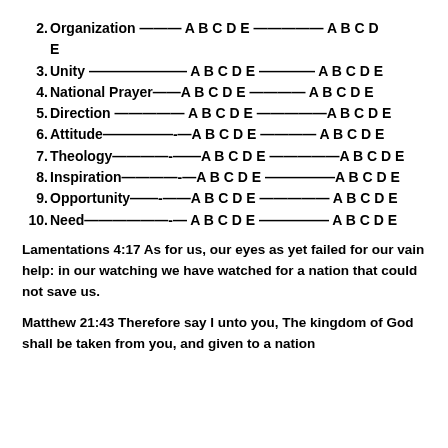2. Organization ——— A B C D E ————— A B C D E
3. Unity ——————— A B C D E ———— A B C D E
4. National Prayer——A B C D E ———— A B C D E
5. Direction ————— A B C D E ————— A B C D E
6. Attitude—————-—A B C D E ———— A B C D E
7. Theology————-——A B C D E ————— A B C D E
8. Inspiration————-—A B C D E ————— A B C D E
9. Opportunity——-——A B C D E ————— A B C D E
10. Need——————-— A B C D E ————— A B C D E
Lamentations 4:17 As for us, our eyes as yet failed for our vain help: in our watching we have watched for a nation that could not save us.
Matthew 21:43 Therefore say I unto you, The kingdom of God shall be taken from you, and given to a nation